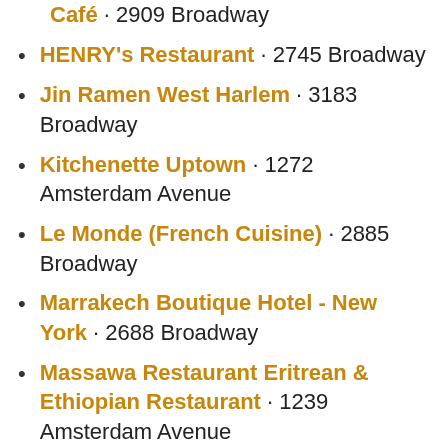Harlem Bespoke the West End Café · 2909 Broadway
HENRY's Restaurant · 2745 Broadway
Jin Ramen West Harlem · 3183 Broadway
Kitchenette Uptown · 1272 Amsterdam Avenue
Le Monde (French Cuisine) · 2885 Broadway
Marrakech Boutique Hotel - New York · 2688 Broadway
Massawa Restaurant Eritrean & Ethiopian Restaurant · 1239 Amsterdam Avenue
Max Soha · 1262 Amsterdam Avenue
Mol's Burger | Bar · 2850 Broadway